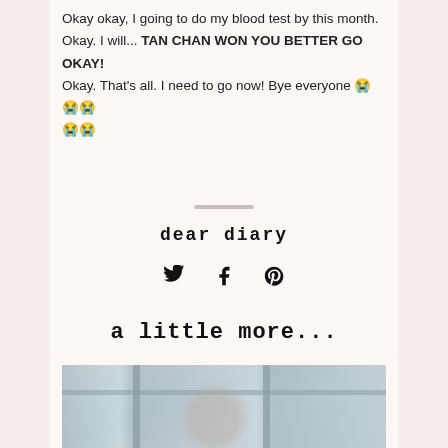Okay okay, I going to do my blood test by this month. Okay. I will... TAN CHAN WON YOU BETTER GO OKAY! Okay. That's all. I need to go now! Bye everyone 😭😭😭😭😭
dear diary
[Figure (other): Social share icons: Twitter bird, Facebook f, Pinterest p]
a little more...
[Figure (photo): Blurry photo of a storefront or glass building exterior with vertical window frames]